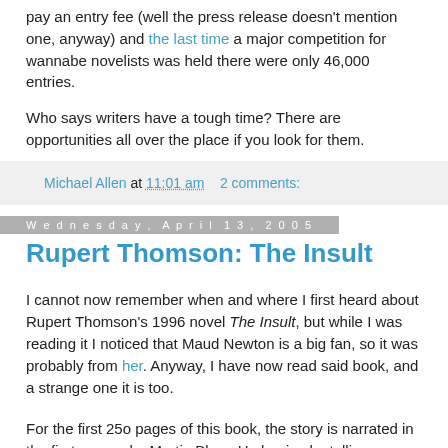pay an entry fee (well the press release doesn't mention one, anyway) and the last time a major competition for wannabe novelists was held there were only 46,000 entries.
Who says writers have a tough time? There are opportunities all over the place if you look for them.
Michael Allen at 11:01 am   2 comments:
Wednesday, April 13, 2005
Rupert Thomson: The Insult
I cannot now remember when and where I first heard about Rupert Thomson's 1996 novel The Insult, but while I was reading it I noticed that Maud Newton is a big fan, so it was probably from her. Anyway, I have now read said book, and a strange one it is too.
For the first 250 pages of this book, the story is narrated in the first person by Martin Blom. He begins by telling us how,